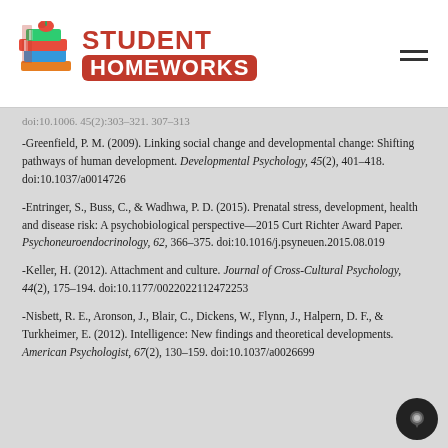Student Homeworks logo with hamburger menu
doi:10.1006. 45(2):303–321. 307–313
-Greenfield, P. M. (2009). Linking social change and developmental change: Shifting pathways of human development. Developmental Psychology, 45(2), 401–418. doi:10.1037/a0014726
-Entringer, S., Buss, C., & Wadhwa, P. D. (2015). Prenatal stress, development, health and disease risk: A psychobiological perspective—2015 Curt Richter Award Paper. Psychoneuroendocrinology, 62, 366–375. doi:10.1016/j.psyneuen.2015.08.019
-Keller, H. (2012). Attachment and culture. Journal of Cross-Cultural Psychology, 44(2), 175–194. doi:10.1177/0022022112472253
-Nisbett, R. E., Aronson, J., Blair, C., Dickens, W., Flynn, J., Halpern, D. F., & Turkheimer, E. (2012). Intelligence: New findings and theoretical developments. American Psychologist, 67(2), 130–159. doi:10.1037/a0026699